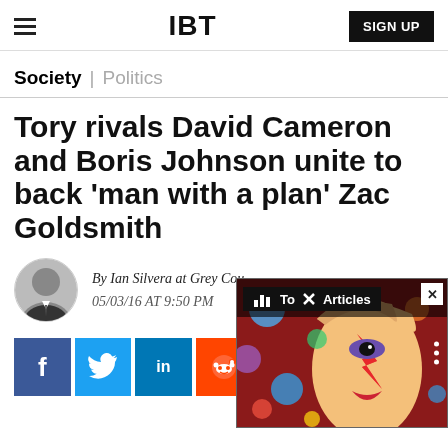IBT | SIGN UP
Society | Politics
Tory rivals David Cameron and Boris Johnson unite to back 'man with a plan' Zac Goldsmith
By Ian Silvera at Grey Co... 05/03/16 AT 9:50 PM
[Figure (other): Social share buttons: Facebook, Twitter, LinkedIn, Reddit, Flipboard, Email, Comment]
[Figure (photo): Ad overlay showing David Bowie image with 'Top Articles' label and close button]